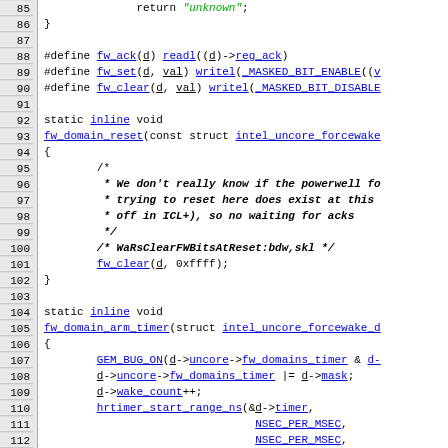[Figure (screenshot): Source code listing showing C code for firmware domain reset and arm timer functions, lines 85-114, with line numbers on left margin and syntax highlighting. Blue underlined text for identifiers/links, green italic for strings, bold italic for comments.]